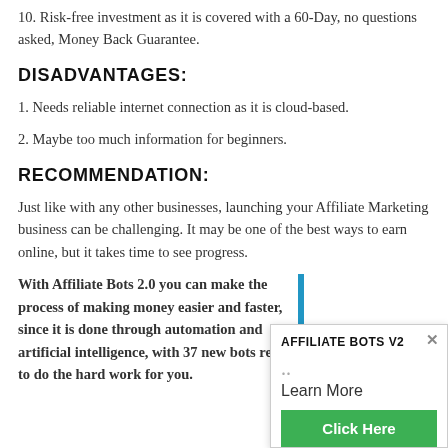10. Risk-free investment as it is covered with a 60-Day, no questions asked, Money Back Guarantee.
DISADVANTAGES:
1. Needs reliable internet connection as it is cloud-based.
2. Maybe too much information for beginners.
RECOMMENDATION:
Just like with any other businesses, launching your Affiliate Marketing business can be challenging. It may be one of the best ways to earn online, but it takes time to see progress.
With Affiliate Bots 2.0 you can make the process of making money easier and faster, since it is done through automation and artificial intelligence, with 37 new bots ready to do the hard work for you.
[Figure (other): Popup advertisement for Affiliate Bots V2 with a blue vertical bar on the left, title 'AFFILIATE BOTS V2', a 'Learn More' text, and a green 'Click Here' button. A close X button appears in the top right corner.]